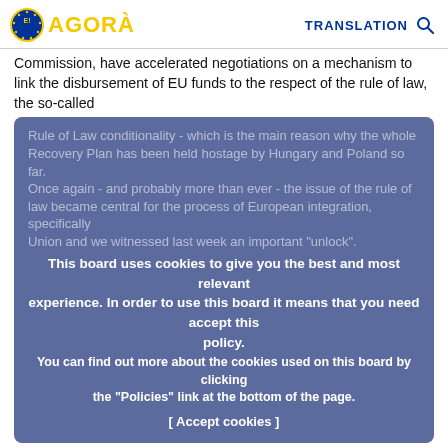E! AGORA | TRANSLATION [search]
Commission, have accelerated negotiations on a mechanism to link the disbursement of EU funds to the respect of the rule of law, the so-called
This board uses cookies to give you the best and most relevant experience. In order to use this board it means that you need accept this policy. You can find out more about the cookies used on this board by clicking the "Policies" link at the bottom of the page. [ Accept cookies ]
A general regime of conditionality linking the disbursement of EU funds to the respect of the Rule of Law and EU values has been agreed by EU leaders in December 2020. However, such a mechanism will not apply to "generalized deficiencies" concerning the Rule of Law, but only to those measures directly affecting the sound financial management of EU funds and EU financial interests. Furthermore, the activation of the mechanism will be pending a challenge to its legality by Hungary and Poland before the European Court of Justice, delaying its implementation by months, if not years.
In light of these developments and of the weak nature of the conditionality itself, the issue of the Rule of Law should be included in the Conference on the Future of Europe, as also suggested in the "S&D